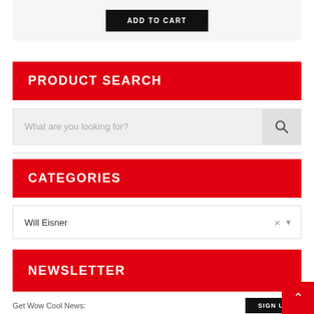[Figure (screenshot): ADD TO CART button on a light gray background, dark/black button with white uppercase text]
PRODUCT SEARCH
[Figure (screenshot): Search input field with placeholder 'What are you looking for?' and a search icon button on the right]
CATEGORIES
[Figure (screenshot): Dropdown selector showing 'Will Eisner' with clear (x) and expand (v) controls]
NEWSLETTER
Get Wow Cool News:
[Figure (screenshot): SIGN UP button, dark background with white uppercase text]